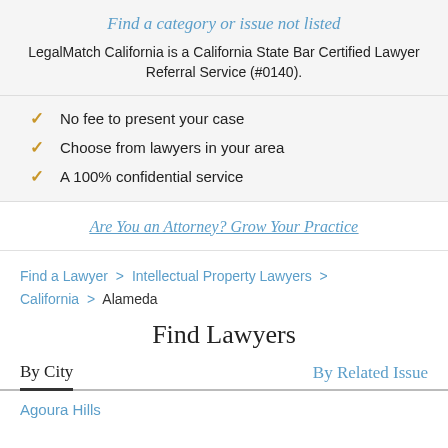Find a category or issue not listed
LegalMatch California is a California State Bar Certified Lawyer Referral Service (#0140).
No fee to present your case
Choose from lawyers in your area
A 100% confidential service
Are You an Attorney? Grow Your Practice
Find a Lawyer > Intellectual Property Lawyers > California > Alameda
Find Lawyers
By City
By Related Issue
Agoura Hills